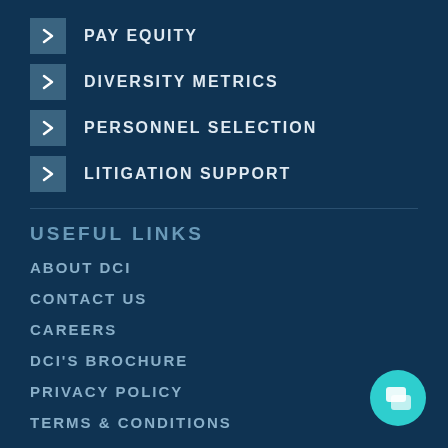PAY EQUITY
DIVERSITY METRICS
PERSONNEL SELECTION
LITIGATION SUPPORT
USEFUL LINKS
ABOUT DCI
CONTACT US
CAREERS
DCI'S BROCHURE
PRIVACY POLICY
TERMS & CONDITIONS
PRICING POLICY